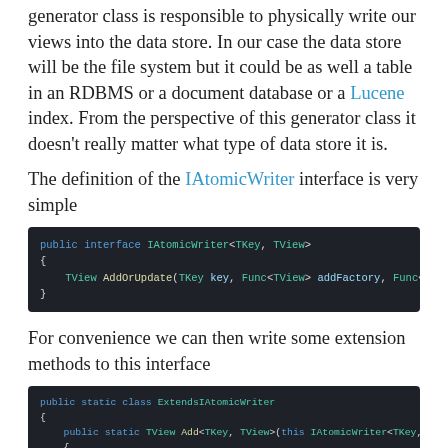generator class is responsible to physically write our views into the data store. In our case the data store will be the file system but it could be as well a table in an RDBMS or a document database or a Lucene index. From the perspective of this generator class it doesn't really matter what type of data store it is.
The definition of the IAtomicWriter interface is very simple
[Figure (screenshot): Code block showing: public interface IAtomicWriter<TKey, TView> { TView AddOrUpdate(TKey key, Func<TView> addFactory, Func<TView, TView> updateFunction); }]
For convenience we can then write some extension methods to this interface
[Figure (screenshot): Code block showing public static class ExtendsIAtomicWriter with Add and UpdateOrThrow extension methods]